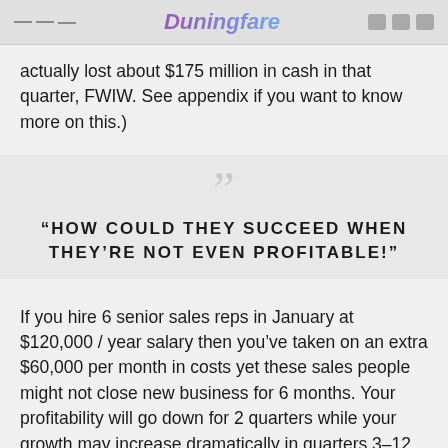Duningfare
actually lost about $175 million in cash in that quarter, FWIW. See appendix if you want to know more on this.)
“HOW COULD THEY SUCCEED WHEN THEY’RE NOT EVEN PROFITABLE!”
If you hire 6 senior sales reps in January at $120,000 / year salary then you’ve taken on an extra $60,000 per month in costs yet these sales people might not close new business for 6 months. Your profitability will go down for 2 quarters while your growth may increase dramatically in quarters 3–12.